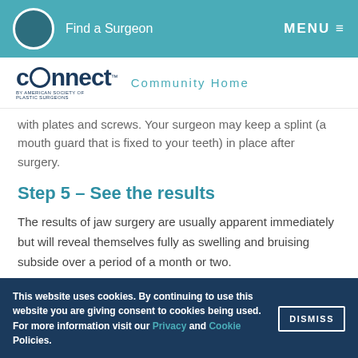Find a Surgeon   MENU
connect™ by American Society of Plastic Surgeons   Community Home
with plates and screws. Your surgeon may keep a splint (a mouth guard that is fixed to your teeth) in place after surgery.
Step 5 – See the results
The results of jaw surgery are usually apparent immediately but will reveal themselves fully as swelling and bruising subside over a period of a month or two.
Next: Recovery and Results
This website uses cookies. By continuing to use this website you are giving consent to cookies being used. For more information visit our Privacy and Cookie Policies.